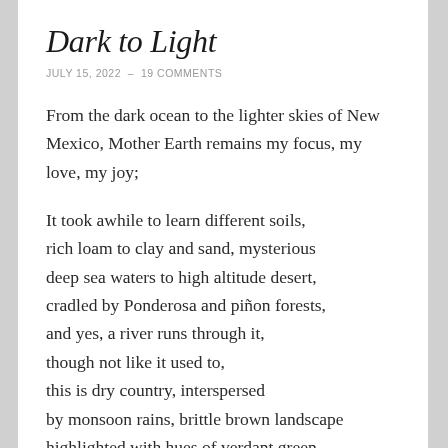Dark to Light
JULY 15, 2022  –  19 COMMENTS
From the dark ocean to the lighter skies of New Mexico, Mother Earth remains my focus, my love, my joy;
It took awhile to learn different soils, rich loam to clay and sand, mysterious deep sea waters to high altitude desert, cradled by Ponderosa and piñon forests, and yes, a river runs through it, though not like it used to, this is dry country, interspersed by monsoon rains, brittle brown landscape highlighted with hues of verdant green